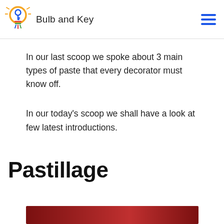Bulb and Key
In our last scoop we spoke about 3 main types of paste that every decorator must know off.
In our today's scoop we shall have a look at few latest introductions.
Pastillage
[Figure (photo): Partial image at the bottom of the page, appears to be a food or decorating related photo with dark red tones]